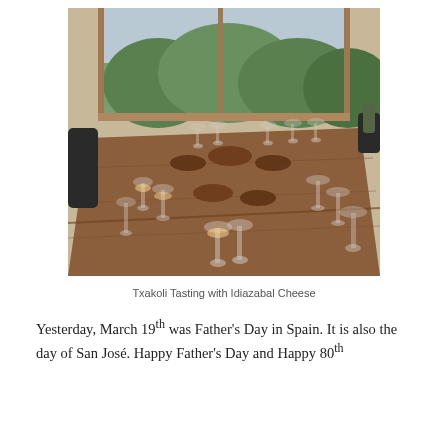[Figure (photo): A wine tasting scene with multiple wine glasses and small bowls arranged on a large wooden table. Mountains and trees are visible through large windows in the background. Two people are partially visible at the edges of the frame.]
Txakoli Tasting with Idiazabal Cheese
Yesterday, March 19th was Father's Day in Spain. It is also the day of San José. Happy Father's Day and Happy 80th